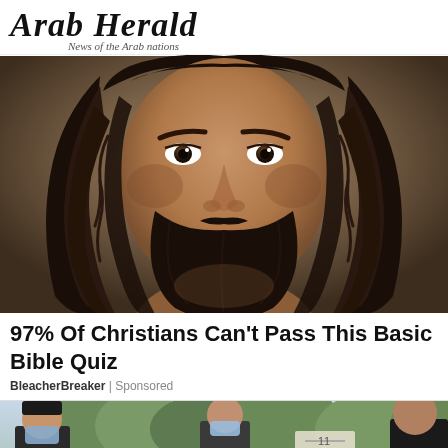Arab Herald — News of the Arab nations
[Figure (illustration): Portrait illustration of a man with long dark wavy hair and beard, resembling traditional depictions of Jesus Christ, looking directly at the viewer. Background is muted brownish-gray.]
97% Of Christians Can't Pass This Basic Bible Quiz
BleacherBreaker | Sponsored
[Figure (photo): Partial photo showing people wearing face masks outdoors, appears to be a crowd scene with trees in the background.]